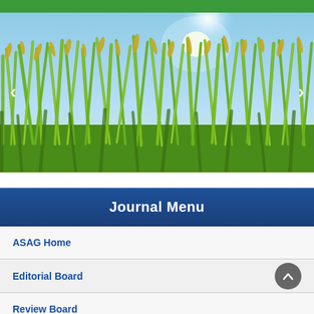[Figure (photo): Rice field with green stalks bearing golden grain heads under a bright blue sky with sun, photographed from low angle. Navigation arrows on left and right sides.]
Journal Menu
ASAG Home
Editorial Board
Review Board